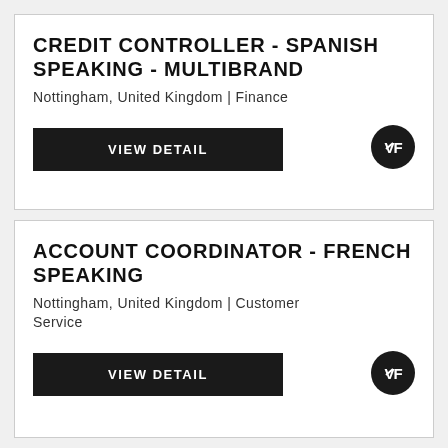CREDIT CONTROLLER - SPANISH SPEAKING - MULTIBRAND
Nottingham, United Kingdom | Finance
VIEW DETAIL
ACCOUNT COORDINATOR - FRENCH SPEAKING
Nottingham, United Kingdom | Customer Service
VIEW DETAIL